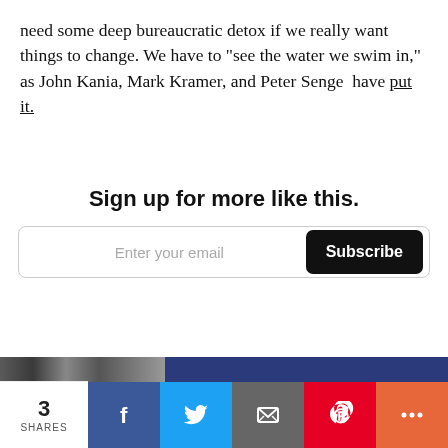need some deep bureaucratic detox if we really want things to change. We have to "see the water we swim in," as John Kania, Mark Kramer, and Peter Senge  have put it.
Sign up for more like this.
[Figure (screenshot): Email subscription form with text input placeholder 'Enter your email' and a black 'Subscribe' button]
[Figure (screenshot): Social sharing bar showing 3 SHARES, with Facebook (blue), Twitter (light blue), Email (gray), Pinterest (red), and More (orange) buttons]